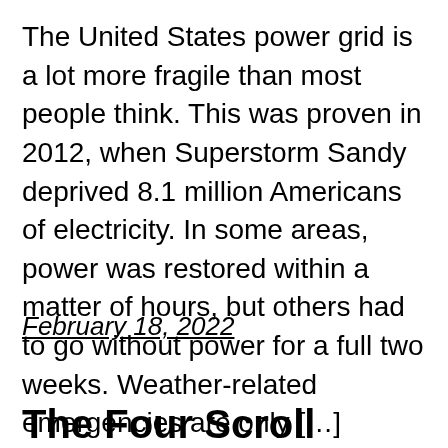The United States power grid is a lot more fragile than most people think. This was proven in 2012, when Superstorm Sandy deprived 8.1 million Americans of electricity. In some areas, power was restored within a matter of hours, but others had to go without power for a full two weeks. Weather-related emergencies are only […]
February 18, 2022
The Four Scroll...